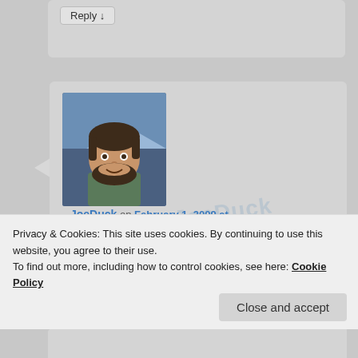Reply ↓
[Figure (photo): User avatar photo of JoeDuck, a bearded man photographed outdoors]
JoeDuck on February 1, 2009 at 11:32 am said:
👍 0 👎 0 ℹ Rate This
Even Adam Smith recognized that you need rules in place to keep the profit motives in line with the social good. This is why we make it illegal to dump toxic waste in the river, although I'd argue the most effective approaches to pollution are not
Privacy & Cookies: This site uses cookies. By continuing to use this website, you agree to their use.
To find out more, including how to control cookies, see here: Cookie Policy
Close and accept